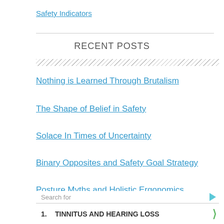Safety Indicators
RECENT POSTS
Nothing is Learned Through Brutalism
The Shape of Belief in Safety
Solace In Times of Uncertainty
Binary Opposites and Safety Goal Strategy
Posture Myths and Holistic Ergonomics
Search for
1. TINNITUS AND HEARING LOSS
2. THE BEST HEARING AID
Yahoo! Search | Sponsored